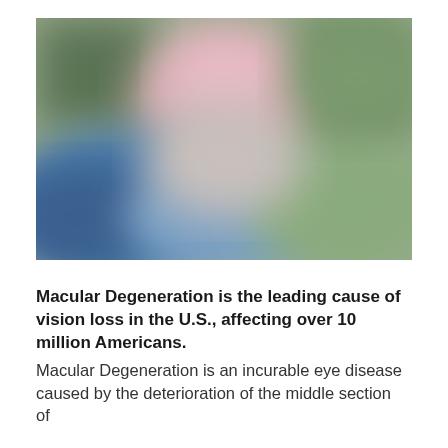[Figure (photo): A blurred photograph showing a person, with soft blended colors of green, blue, and pink — simulating the visual distortion experienced with macular degeneration.]
Macular Degeneration is the leading cause of vision loss in the U.S., affecting over 10 million Americans. Macular Degeneration is an incurable eye disease caused by the deterioration of the middle section of